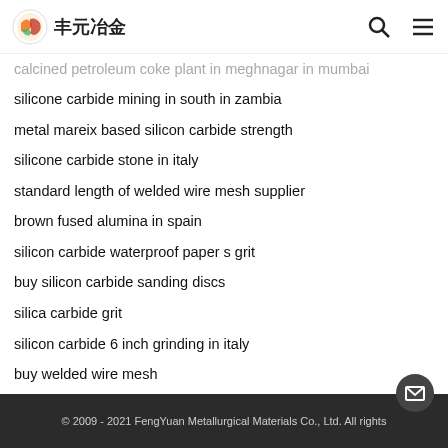丰元冶金 [logo]
calcined petroleum coke plant in meghnagar in mumbai
silicone carbide mining in south in zambia
metal mareix based silicon carbide strength
silicone carbide stone in italy
standard length of welded wire mesh supplier
brown fused alumina in spain
silicon carbide waterproof paper s grit
buy silicon carbide sanding discs
silica carbide grit
silicon carbide 6 inch grinding in italy
buy welded wire mesh
aluminium silicon carbide metal matrix equipment
welded wire fabric 150 * 150 * mw9c * mw9 wwf in finland
calcium nonmetal metal or metalloid angola
© 2009 - 2021 FengYuan Metallurgical Materials Co., Ltd. All rights